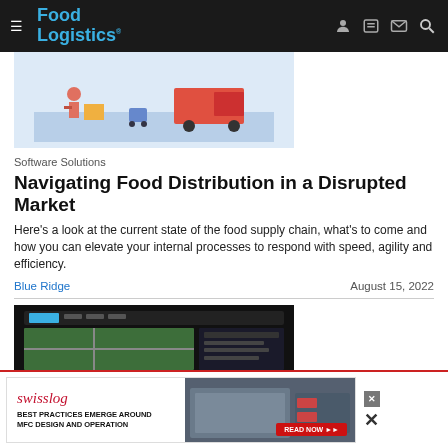Food Logistics
[Figure (illustration): Isometric illustration of food distribution with delivery trucks and workers]
Software Solutions
Navigating Food Distribution in a Disrupted Market
Here's a look at the current state of the food supply chain, what's to come and how you can elevate your internal processes to respond with speed, agility and efficiency.
Blue Ridge    August 15, 2022
[Figure (screenshot): Screenshot of Reveal software interface showing logistics tracking]
[Figure (illustration): Swisslog advertisement - Best Practices Emerge Around MFC Design and Operation]